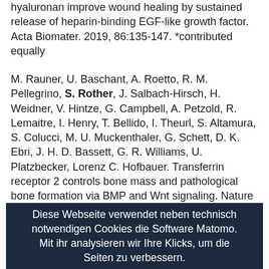hyaluronan improve wound healing by sustained release of heparin-binding EGF-like growth factor. Acta Biomater. 2019, 86:135-147. *contributed equally
M. Rauner, U. Baschant, A. Roetto, R. M. Pellegrino, S. Rother, J. Salbach-Hirsch, H. Weidner, V. Hintze, G. Campbell, A. Petzold, R. Lemaitre, I. Henry, T. Bellido, I. Theurl, S. Altamura, S. Colucci, M. U. Muckenthaler, G. Schett, D. K. Ebri, J. H. D. Bassett, G. R. Williams, U. Platzbecker, Lorenz C. Hofbauer. Transferrin receptor 2 controls bone mass and pathological bone formation via BMP and Wnt signaling. Nature Metabolism. 2019; 1:111-124.
Diese Webseite verwendet neben technisch notwendigen Cookies die Software Matomo. Mit ihr analysieren wir Ihre Klicks, um die Seiten zu verbessern.